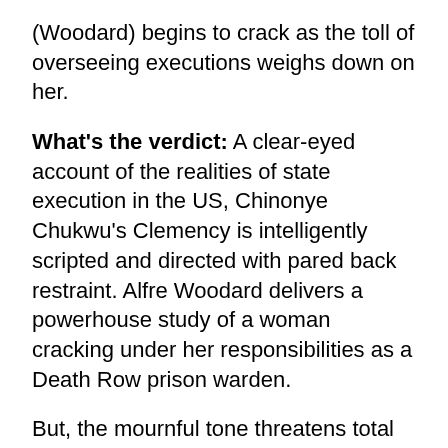(Woodard) begins to crack as the toll of overseeing executions weighs down on her.
What's the verdict: A clear-eyed account of the realities of state execution in the US, Chinonye Chukwu's Clemency is intelligently scripted and directed with pared back restraint. Alfre Woodard delivers a powerhouse study of a woman cracking under her responsibilities as a Death Row prison warden.
But, the mournful tone threatens total inertia and while an interesting, carefully balanced character study, the film doesn't add too much to the understanding of America's execution system.
That doubt is cast on the guilt of the latest inmate facing lethal injection (an exceptional Hodge) muddles the central message that capital punishment is a